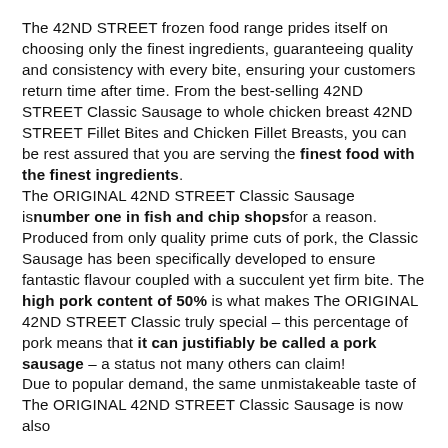The 42ND STREET frozen food range prides itself on choosing only the finest ingredients, guaranteeing quality and consistency with every bite, ensuring your customers return time after time. From the best-selling 42ND STREET Classic Sausage to whole chicken breast 42ND STREET Fillet Bites and Chicken Fillet Breasts, you can be rest assured that you are serving the finest food with the finest ingredients.
The ORIGINAL 42ND STREET Classic Sausage is number one in fish and chip shops for a reason. Produced from only quality prime cuts of pork, the Classic Sausage has been specifically developed to ensure fantastic flavour coupled with a succulent yet firm bite. The high pork content of 50% is what makes The ORIGINAL 42ND STREET Classic truly special – this percentage of pork means that it can justifiably be called a pork sausage – a status not many others can claim!
Due to popular demand, the same unmistakeable taste of The ORIGINAL 42ND STREET Classic Sausage is now also available in a Jumbo...